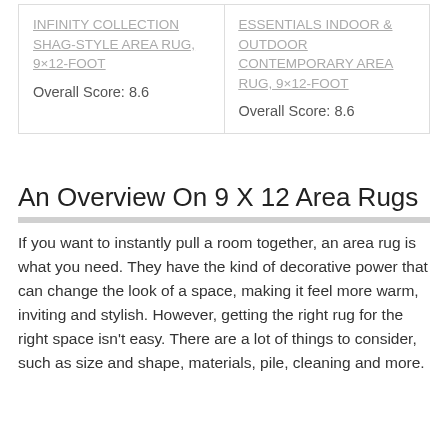| Product (Left) | Product (Right) |
| --- | --- |
| INFINITY COLLECTION SHAG-STYLE AREA RUG, 9×12-FOOT
Overall Score: 8.6 | ESSENTIALS INDOOR & OUTDOOR CONTEMPORARY AREA RUG, 9×12-FOOT
Overall Score: 8.6 |
An Overview On 9 X 12 Area Rugs
If you want to instantly pull a room together, an area rug is what you need. They have the kind of decorative power that can change the look of a space, making it feel more warm, inviting and stylish. However, getting the right rug for the right space isn't easy. There are a lot of things to consider, such as size and shape, materials, pile, cleaning and more.